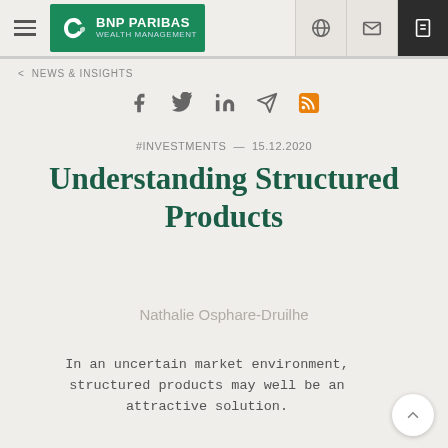BNP PARIBAS WEALTH MANAGEMENT
< NEWS & INSIGHTS
#INVESTMENTS — 15.12.2020
Understanding Structured Products
Nathalie Osphare-Druilhe
In an uncertain market environment, structured products may well be an attractive solution.